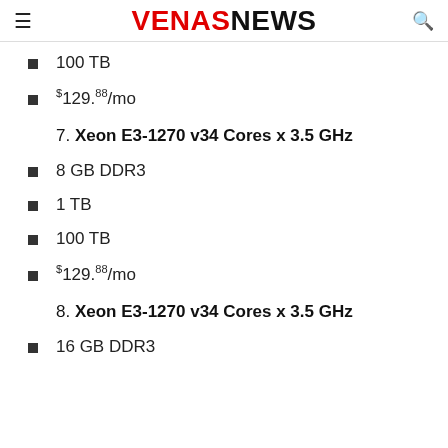VENASNEWS
100 TB
$129.88/mo
7. Xeon E3-1270 v34 Cores x 3.5 GHz
8 GB DDR3
1 TB
100 TB
$129.88/mo
8. Xeon E3-1270 v34 Cores x 3.5 GHz
16 GB DDR3